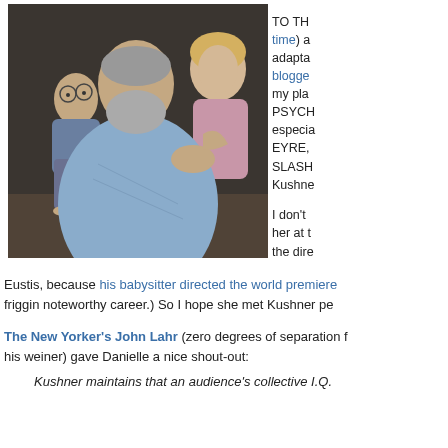[Figure (illustration): Painting/illustration of three figures: a balding man with glasses seated in background (left), a bearded older man in a light blue robe/sweater in the foreground center, and a blonde woman in a pink shirt on the right, all with serious expressions.]
TO TH time) a adapta blogge my pla PSYCH especia EYRE, SLASH Kushne
I don't her at t the dire
Eustis, because his babysitter directed the world premiere friggin noteworthy career.) So I hope she met Kushner pe
The New Yorker's John Lahr (zero degrees of separation f his weiner) gave Danielle a nice shout-out:
Kushner maintains that an audience's collective I.Q.